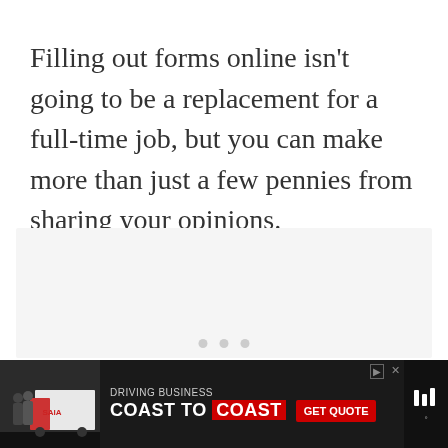Filling out forms online isn't going to be a replacement for a full-time job, but you can make more than just a few pennies from sharing your opinions.
[Figure (other): A light gray slideshow placeholder area with three navigation dots at the bottom]
[Figure (photo): Advertisement banner: SAIA trucking company ad showing two people near a truck, text reading DRIVING BUSINESS COAST TO COAST with GET QUOTE button, and a weather app logo on the right]